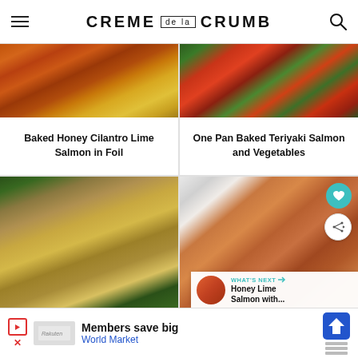CREME DE LA CRUMB
[Figure (photo): Baked honey cilantro lime salmon on foil with lime slices]
Baked Honey Cilantro Lime Salmon in Foil
[Figure (photo): One pan baked teriyaki salmon and vegetables on a sheet pan with broccoli and carrots]
One Pan Baked Teriyaki Salmon and Vegetables
[Figure (photo): Parmesan crusted salmon with asparagus and lemon]
[Figure (photo): Honey lime salmon on a white plate with a fork, with What's Next overlay showing Honey Lime Salmon with...]
WHAT'S NEXT → Honey Lime Salmon with...
Members save big World Market